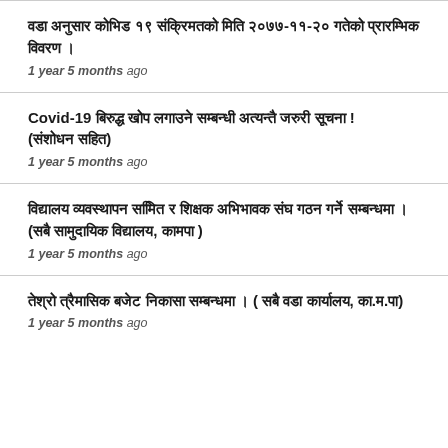वडा अनुसार कोभिड १९ संक्रिमतको मिति २०७७-११-२० गतेको प्रारम्भिक विवरण ।
1 year 5 months ago
Covid-19 बिरुद्ध खोप लगाउने सम्बन्धी अत्यन्तै जरुरी सूचना ! (संशोधन सहित)
1 year 5 months ago
विद्यालय व्यवस्थापन समिित र शिक्षक अभिभावक संघ गठन गर्ने सम्बन्धमा । (सबै सामुदायिक विद्यालय, कामपा )
1 year 5 months ago
तेश्रो त्रैमासिक बजेट निकासा सम्बन्धमा । ( सबै वडा कार्यालय, का.म.पा)
1 year 5 months ago